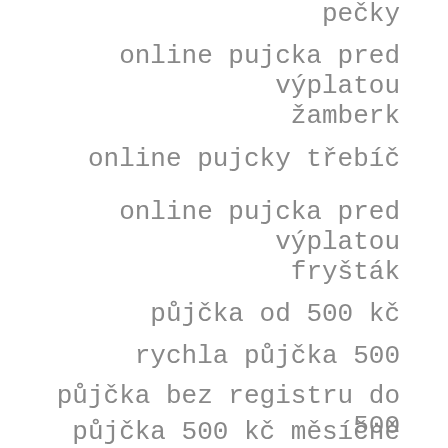pečky
online pujcka pred výplatou žamberk
online pujcky třebíč
online pujcka pred výplatou fryšták
půjčka od 500 kč
rychla půjčka 500
půjčka bez registru do 500
půjčka 500 kč měsíčně